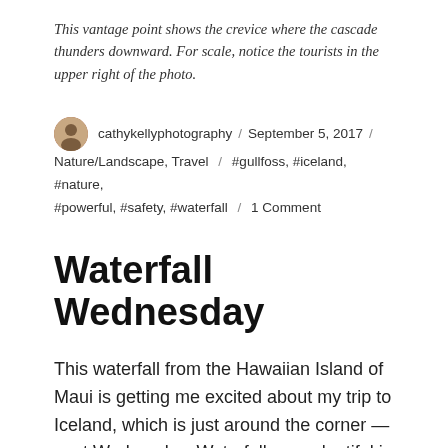This vantage point shows the crevice where the cascade thunders downward. For scale, notice the tourists in the upper right of the photo.
cathykellyphotography / September 5, 2017 / Nature/Landscape, Travel / #gullfoss, #iceland, #nature, #powerful, #safety, #waterfall / 1 Comment
Waterfall Wednesday
This waterfall from the Hawaiian Island of Maui is getting me excited about my trip to Iceland, which is just around the corner — next Wednesday. Waterfalls are plentiful in a volcanic landscape, so I expect Iceland to bear